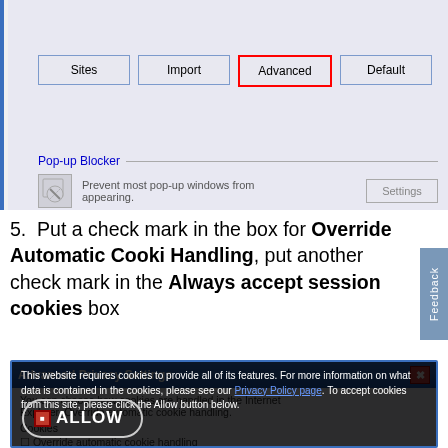[Figure (screenshot): Internet Explorer Privacy settings dialog showing four buttons: Sites, Import, Advanced (highlighted with red border), Default. Below is a Pop-up Blocker section with Settings button.]
5. Put a check mark in the box for Override Automatic Cookie Handling, put another check mark in the Always accept session cookies box
[Figure (screenshot): Advanced Privacy Settings dialog window partially visible, with a cookie consent overlay popup showing text about cookies and an ALLOW button circled.]